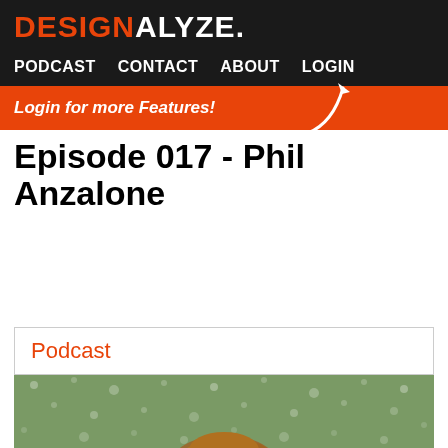DESIGNALYZE.
PODCAST  CONTACT  ABOUT  LOGIN
Login for more Features!
Episode 017 - Phil Anzalone
Podcast
[Figure (photo): Photo of Phil Anzalone outdoors, with bokeh/rain effect in the background, warm brown hair visible at the top of the frame]